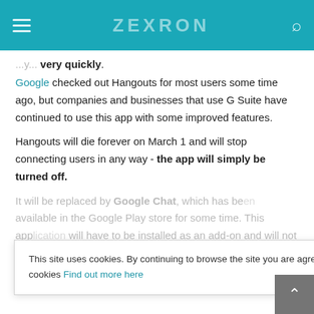ZEXRON
very quickly.
Google checked out Hangouts for most users some time ago, but companies and businesses that use G Suite have continued to use this app with some improved features.
Hangouts will die forever on March 1 and will stop connecting users in any way - the app will simply be turned off.
It will be replaced by Google Chat, which has been available in the Google Play store for some time. This application will have to be installed as an add-on and will not be accessible directly through Gmail, as is currently the case with Hangouts.
This site uses cookies. By continuing to browse the site you are agreeing to our use of cookies Find out more here